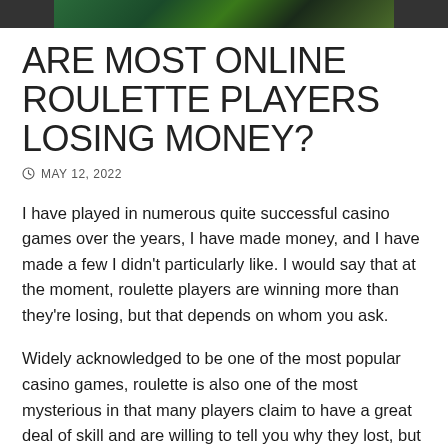[Figure (photo): Partial banner image of a casino roulette table, cropped at top of page]
ARE MOST ONLINE ROULETTE PLAYERS LOSING MONEY?
MAY 12, 2022
I have played in numerous quite successful casino games over the years, I have made money, and I have made a few I didn't particularly like. I would say that at the moment, roulette players are winning more than they're losing, but that depends on whom you ask.
Widely acknowledged to be one of the most popular casino games, roulette is also one of the most mysterious in that many players claim to have a great deal of skill and are willing to tell you why they lost, but when you ask them why they won they can't answer. Roulette is at the center of the…